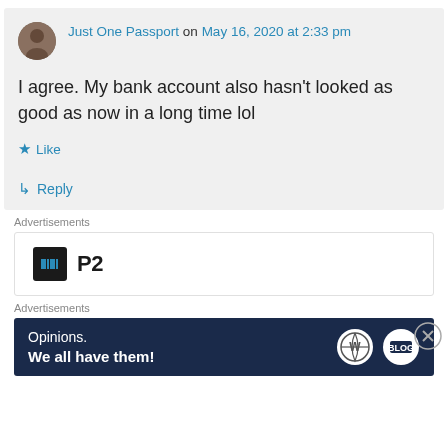Just One Passport on May 16, 2020 at 2:33 pm
I agree. My bank account also hasn't looked as good as now in a long time lol
★ Like
↳ Reply
Advertisements
[Figure (logo): P2 logo - dark square icon with H-shape and text P2]
Advertisements
[Figure (infographic): WordPress ad banner with dark navy background, text: Opinions. We all have them! with WordPress and another logo on right]